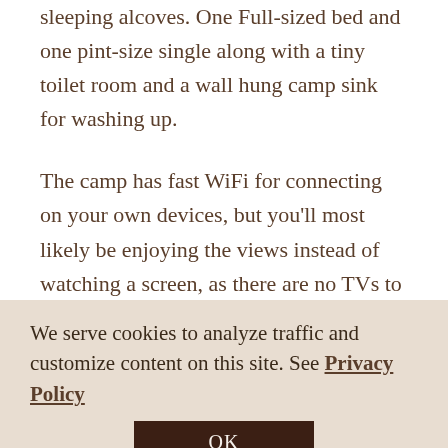sleeping alcoves. One Full-sized bed and one pint-size single along with a tiny toilet room and a wall hung camp sink for washing up.
The camp has fast WiFi for connecting on your own devices, but you'll most likely be enjoying the views instead of watching a screen, as there are no TVs to be found, just like true camp.
The kitchen is equipped with a gas range, coffee maker, toaster and all of the kitchen essentials needed to stay in and cook a homemade meal.
We serve cookies to analyze traffic and customize content on this site. See Privacy Policy